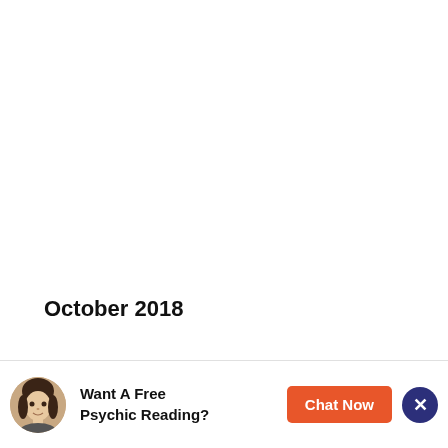October 2018
[Figure (infographic): Ad banner with woman avatar photo, text 'Want A Free Psychic Reading?', orange 'Chat Now' button, and dark blue close button with X]